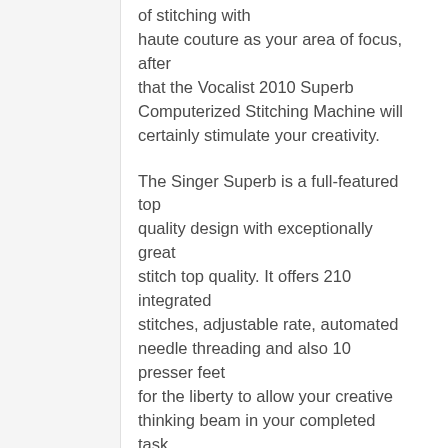of stitching with haute couture as your area of focus, after that the Vocalist 2010 Superb Computerized Stitching Machine will certainly stimulate your creativity.
The Singer Superb is a full-featured top quality design with exceptionally great stitch top quality. It offers 210 integrated stitches, adjustable rate, automated needle threading and also 10 presser feet for the liberty to allow your creative thinking beam in your completed task.
The 10 different presser feet selection, including those utilized for zippers, hemming, as well as buttonholes, along with a drop-in bobbin and also etched